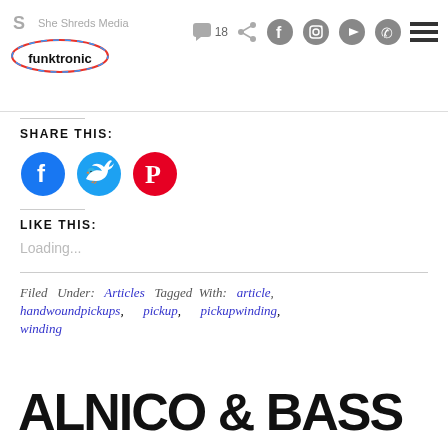She Shreds Media — funktronic — social icons nav bar
SHARE THIS:
[Figure (illustration): Three circular social share buttons: Facebook (blue), Twitter (cyan), Pinterest (red)]
LIKE THIS:
Loading...
Filed Under: Articles  Tagged With: article, handwoundpickups, pickup, pickupwinding, winding
ALNICO & BASS